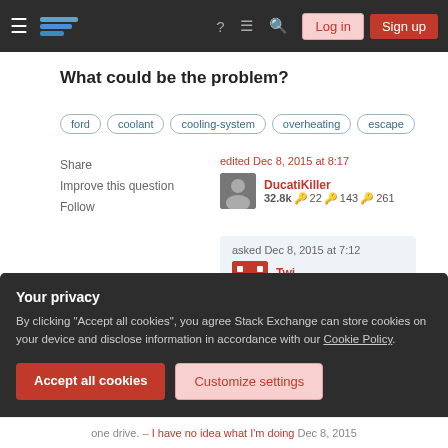Stack Exchange navigation bar with Log in and Sign up buttons
What could be the problem?
ford
coolant
cooling-system
overheating
escape
Share
Improve this question
Follow
edited Dec 8, 2015 at 8:17
DucatiKiller
32.8k 🔑22 🔑143 🔑261
asked Dec 8, 2015 at 7:12
Twi
41 🔑1 🔑2 🔑3
Your privacy
By clicking "Accept all cookies", you agree Stack Exchange can store cookies on your device and disclose information in accordance with our Cookie Policy.
Accept all cookies   Customize settings
one drive. – I have no idea what I'm doing Dec 8, 2015